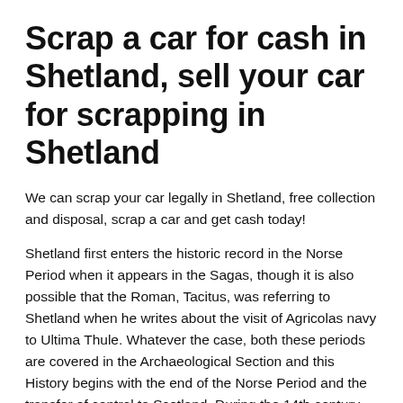Scrap a car for cash in Shetland, sell your car for scrapping in Shetland
We can scrap your car legally in Shetland, free collection and disposal, scrap a car and get cash today!
Shetland first enters the historic record in the Norse Period when it appears in the Sagas, though it is also possible that the Roman, Tacitus, was referring to Shetland when he writes about the visit of Agricolas navy to Ultima Thule. Whatever the case, both these periods are covered in the Archaeological Section and this History begins with the end of the Norse Period and the transfer of control to Scotland. During the 14th century Norway, Sweden and Denmark united, but even together they were not as wealthy or powerful as before and a marriage was proposed between the Danish and Scottish Royal Households to bring prosperity to both.